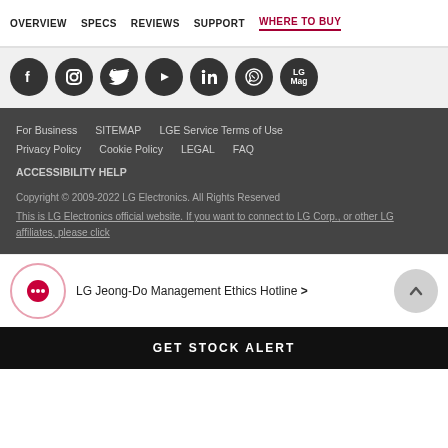OVERVIEW  SPECS  REVIEWS  SUPPORT  WHERE TO BUY
[Figure (illustration): Row of social media icons: Facebook, Instagram, Twitter, YouTube, LinkedIn, WhatsApp, LG Mag — all dark circular icons on light grey background]
For Business  SITEMAP  LGE Service Terms of Use
Privacy Policy  Cookie Policy  LEGAL  FAQ
ACCESSIBILITY HELP
Copyright © 2009-2022 LG Electronics. All Rights Reserved
This is LG Electronics official website. If you want to connect to LG Corp., or other LG affiliates, please click
LG Jeong-Do Management Ethics Hotline
GET STOCK ALERT